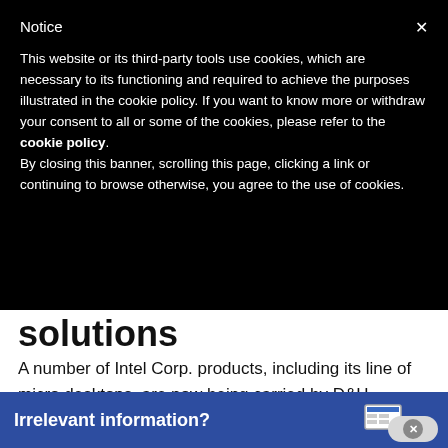Notice
This website or its third-party tools use cookies, which are necessary to its functioning and required to achieve the purposes illustrated in the cookie policy. If you want to know more or withdraw your consent to all or some of the cookies, please refer to the cookie policy.
By closing this banner, scrolling this page, clicking a link or continuing to browse otherwise, you agree to the use of cookies.
solutions
A number of Intel Corp. products, including its line of micro desktops, are now being carried by D&H…
Irrelevant information?